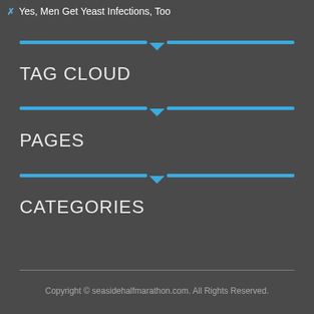Yes, Men Get Yeast Infections, Too
TAG CLOUD
PAGES
CATEGORIES
Copyright © seasidehalfmarathon.com. All Rights Reserved.